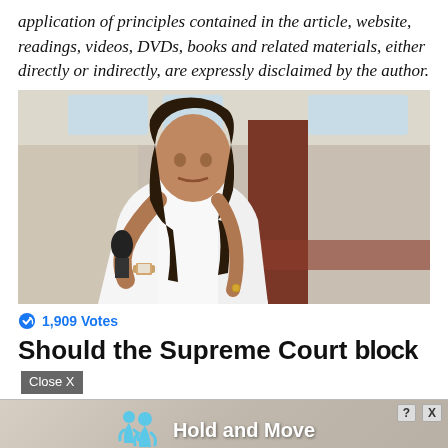application of principles contained in the article, website, readings, videos, DVDs, books and related materials, either directly or indirectly, are expressly disclaimed by the author.
[Figure (photo): A woman in a white shirt holding a microphone, speaking at an event, with a brick column and windows visible in the background.]
1,909 Votes
Should the Supreme Court block [Close X overlay] P... [ad overlay: Hold and Move] S...